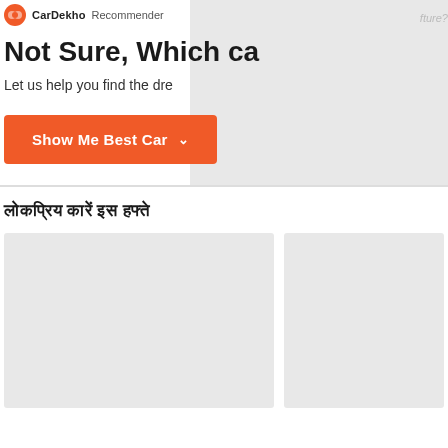CarDekho Recommender
Not Sure, Which ca
Let us help you find the dre
Show Me Best Car ▾
लोकप्रिय कारें इस हफ्ते
[Figure (photo): Large gray placeholder card for a popular car image]
[Figure (photo): Smaller gray placeholder card for a popular car image]